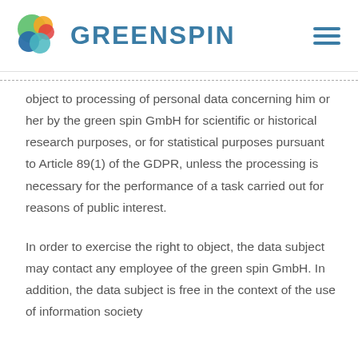[Figure (logo): Greenspin logo with colorful overlapping circles and teal GREENSPIN wordmark]
object to processing of personal data concerning him or her by the green spin GmbH for scientific or historical research purposes, or for statistical purposes pursuant to Article 89(1) of the GDPR, unless the processing is necessary for the performance of a task carried out for reasons of public interest.
In order to exercise the right to object, the data subject may contact any employee of the green spin GmbH. In addition, the data subject is free in the context of the use of information society